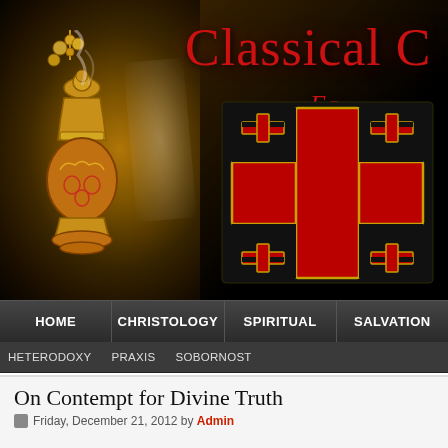[Figure (screenshot): Website banner for 'Classical C' (Classical Christianity) showing an ornate gold incense burner with smoke on the left against a dark background, red Jerusalem Cross emblem on the right, and site title 'Classical C' in red serif font with subtitle 'Ea' below]
HOME | CHRISTOLOGY | SPIRITUAL | SALVATION
HETERODOXY  PRAXIS  SOBORNOST
On Contempt for Divine Truth
Friday, December 21, 2012 by Admin